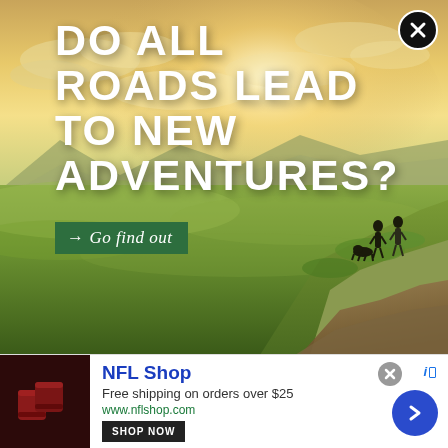[Figure (illustration): Scenic landscape advertisement image showing two people and a dog standing on a hilltop overlooking vast golden-green rolling plains under a dramatic sunset sky. White bold headline text reads 'DO ALL ROADS LEAD TO NEW ADVENTURES?' with a green CTA button '→ Go find out'. A circular close button (X) is in the top-right corner.]
[Figure (infographic): NFL Shop banner advertisement at the bottom. Shows two dark red/maroon foam seat cushions logo image on left, 'NFL Shop' in bold blue text, 'Free shipping on orders over $25', 'www.nflshop.com', a 'SHOP NOW' button, and a blue circular arrow/next button on the right. A small grey close X and AdChoices icon at top right of banner.]